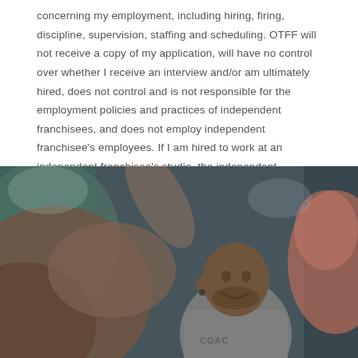concerning my employment, including hiring, firing, discipline, supervision, staffing and scheduling. OTFF will not receive a copy of my application, will have no control over whether I receive an interview and/or am ultimately hired, does not control and is not responsible for the employment policies and practices of independent franchisees, and does not employ independent franchisee's employees. If I am hired to work at an independent franchisee's studio, the independent franchisee, and not OTFF, will be my employer. By submitting my application and resume, I am confirming that I am agreeing and consenting to the foregoing.
[Figure (photo): A smiling Black man wearing a grey shirt with 'COACH' text, photographed in a fitness studio setting. Another person is partially visible in the foreground (blurred), and another to the right. The image has a warm, candid feel with bokeh background.]